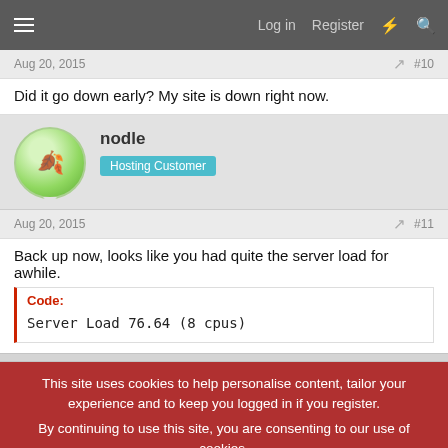Log in  Register
Aug 20, 2015  #10
Did it go down early? My site is down right now.
nodle  Hosting Customer
Aug 20, 2015  #11
Back up now, looks like you had quite the server load for awhile.
Code:
Server Load        76.64 (8 cpus)
This site uses cookies to help personalise content, tailor your experience and to keep you logged in if you register.
By continuing to use this site, you are consenting to our use of cookies.